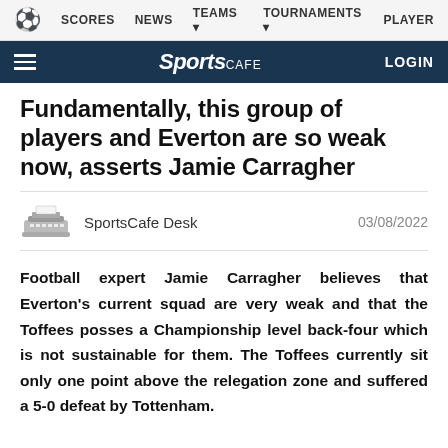SCORES  NEWS  TEAMS  TOURNAMENTS  PLAYER
SportsCafe  LOGIN
Fundamentally, this group of players and Everton are so weak now, asserts Jamie Carragher
SportsCafe Desk   03/08/2022
Football expert Jamie Carragher believes that Everton's current squad are very weak and that the Toffees posses a Championship level back-four which is not sustainable for them. The Toffees currently sit only one point above the relegation zone and suffered a 5-0 defeat by Tottenham.